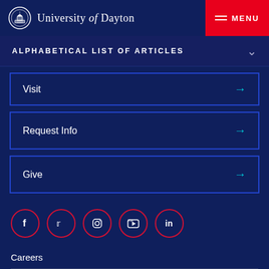University of Dayton — MENU
ALPHABETICAL LIST OF ARTICLES
Visit →
Request Info →
Give →
[Figure (other): Social media icons: Facebook, Twitter, Instagram, YouTube, LinkedIn — each in a red-bordered circle]
Careers
Contact